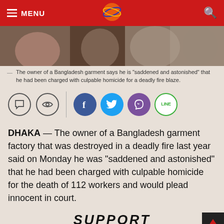MENU [logo] [search]
[Figure (photo): Crowd of people, news photo related to Bangladesh garment factory fire]
The owner of a Bangladesh garment says he is "saddened and astonished" that he had been charged with culpable homicide for a deadly fire blaze.
[Figure (infographic): Social sharing icons: comment, eye/view, Facebook, Twitter, Viber, Line]
DHAKA — The owner of a Bangladesh garment factory that was destroyed in a deadly fire last year said on Monday he was "saddened and astonished" that he had been charged with culpable homicide for the death of 112 workers and would plead innocent in court.
SUPPORT